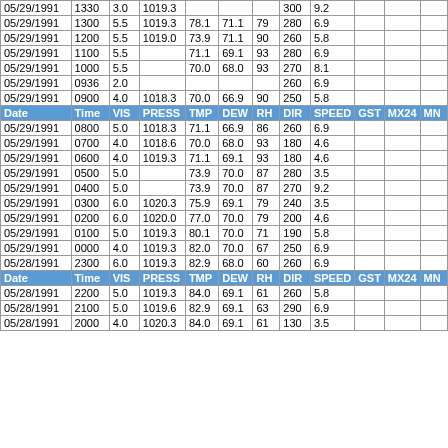| Date | Time | VIS | PRESS | TMP | DEW | RH | DIR | SPEED | GST | MX24 | MN |
| --- | --- | --- | --- | --- | --- | --- | --- | --- | --- | --- | --- |
| 05/29/1991 | 1330 | 3.0 | 1019.3 |  |  |  | 300 | 9.2 |  |  |  |
| 05/29/1991 | 1300 | 5.5 | 1019.3 | 78.1 | 71.1 | 79 | 280 | 6.9 |  |  |  |
| 05/29/1991 | 1200 | 5.5 | 1019.0 | 73.9 | 71.1 | 90 | 260 | 5.8 |  |  |  |
| 05/29/1991 | 1100 | 5.5 |  | 71.1 | 69.1 | 93 | 280 | 6.9 |  |  |  |
| 05/29/1991 | 1000 | 5.5 |  | 70.0 | 68.0 | 93 | 270 | 8.1 |  |  |  |
| 05/29/1991 | 0936 | 2.0 |  |  |  |  | 260 | 6.9 |  |  |  |
| 05/29/1991 | 0900 | 4.0 | 1018.3 | 70.0 | 66.9 | 90 | 250 | 5.8 |  |  |  |
| Date | Time | VIS | PRESS | TMP | DEW | RH | DIR | SPEED | GST | MX24 | MN |
| 05/29/1991 | 0800 | 5.0 | 1018.3 | 71.1 | 66.9 | 86 | 260 | 6.9 |  |  |  |
| 05/29/1991 | 0700 | 4.0 | 1018.6 | 70.0 | 68.0 | 93 | 180 | 4.6 |  |  |  |
| 05/29/1991 | 0600 | 4.0 | 1019.3 | 71.1 | 69.1 | 93 | 180 | 4.6 |  |  |  |
| 05/29/1991 | 0500 | 5.0 |  | 73.9 | 70.0 | 87 | 280 | 3.5 |  |  |  |
| 05/29/1991 | 0400 | 5.0 |  | 73.9 | 70.0 | 87 | 270 | 9.2 |  |  |  |
| 05/29/1991 | 0300 | 6.0 | 1020.3 | 75.9 | 69.1 | 79 | 240 | 3.5 |  |  |  |
| 05/29/1991 | 0200 | 6.0 | 1020.0 | 77.0 | 70.0 | 79 | 200 | 4.6 |  |  |  |
| 05/29/1991 | 0100 | 5.0 | 1019.3 | 80.1 | 70.0 | 71 | 190 | 5.8 |  |  |  |
| 05/29/1991 | 0000 | 4.0 | 1019.3 | 82.0 | 70.0 | 67 | 250 | 6.9 |  |  |  |
| 05/28/1991 | 2300 | 6.0 | 1019.3 | 82.9 | 68.0 | 60 | 260 | 6.9 |  |  |  |
| Date | Time | VIS | PRESS | TMP | DEW | RH | DIR | SPEED | GST | MX24 | MN |
| 05/28/1991 | 2200 | 5.0 | 1019.3 | 84.0 | 69.1 | 61 | 260 | 5.8 |  |  |  |
| 05/28/1991 | 2100 | 5.0 | 1019.6 | 82.9 | 69.1 | 63 | 290 | 6.9 |  |  |  |
| 05/28/1991 | 2000 | 4.0 | 1020.3 | 84.0 | 69.1 | 61 | 130 | 3.5 |  |  |  |